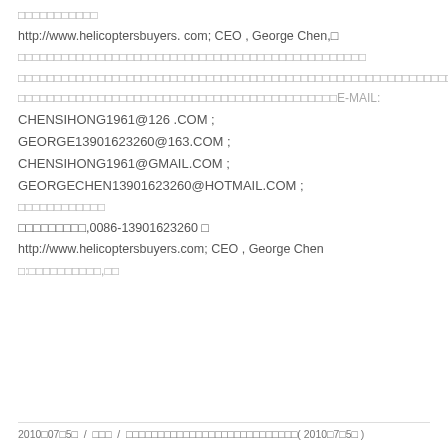□□□□□□□□□□□
http://www.helicoptersbuyers. com; CEO , George Chen,□
□□□□□□□□□□□□□□□□□□□□□□□□□□□□□□□□□□□□□□□□□□□□□□□□
□□□□□□□□□□□□□□□□□□□□□□□□□□□□□□□□□□□□□□□□□□□□□□□□□□□□□□□□□□□□□□□□□□□□□□□□□□□□□□□□□□□□□□□□□□□□□□□□□□□□
□□□□□□□□□□□□□□□□□□□□□□□□□□□□□□□□□□□□□□□□□□□□E-MAIL:
CHENSIHONG1961@126 .COM ;
GEORGE13901623260@163.COM ;
CHENSIHONG1961@GMAIL.COM ;
GEORGECHEN13901623260@HOTMAIL.COM ;
□□□□□□□□□□□□
□□□□□□□□□,0086-13901623260 □
http://www.helicoptersbuyers.com; CEO , George Chen
□:□□□□□□□□□□,□□
2010□07□5□  /  □□□  /  □□□□□□□□□□□□□□□□□□□□□□□□□□□( 2010□7□5□ )